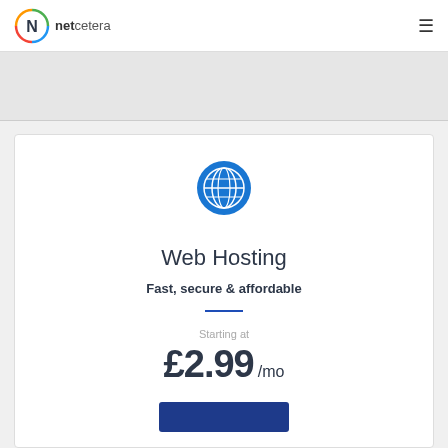netcetera
[Figure (logo): Netcetera logo with circular N icon in blue, green, orange and red colors, followed by text 'netcetera']
[Figure (illustration): Blue circular globe/world icon on a white card]
Web Hosting
Fast, secure & affordable
Starting at
£2.99 /mo